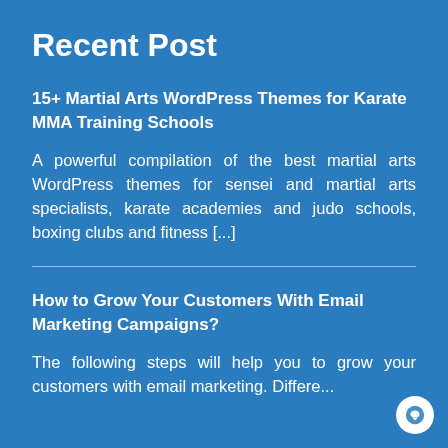Recent Post
15+ Martial Arts WordPress Themes for Karate MMA Training Schools
A powerful compilation of the best martial arts WordPress themes for sensei and martial arts specialists, karate academies and judo schools, boxing clubs and fitness [...]
How to Grow Your Customers With Email Marketing Campaigns?
The following steps will help you to grow your customers with email marketing. Differe...